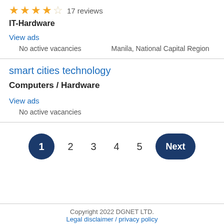★★★★☆ 17 reviews
IT-Hardware
View ads
No active vacancies    Manila, National Capital Region
smart cities technology
Computers / Hardware
View ads
No active vacancies
1  2  3  4  5  Next
Copyright 2022 DGNET LTD.
Legal disclaimer / privacy policy